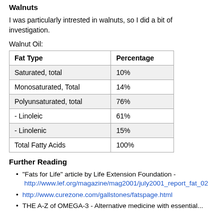Walnuts
I was particularly intrested in walnuts, so I did a bit of investigation.
Walnut Oil:
| Fat Type | Percentage |
| --- | --- |
| Saturated, total | 10% |
| Monosaturated, Total | 14% |
| Polyunsaturated, total | 76% |
| - Linoleic | 61% |
| - Linolenic | 15% |
| Total Fatty Acids | 100% |
Further Reading
"Fats for Life" article by Life Extension Foundation - http://www.lef.org/magazine/mag2001/july2001_report_fat_02
http://www.curezone.com/gallstones/fatspage.html
THE A-Z of OMEGA-3 - Alternative medicine with essential...